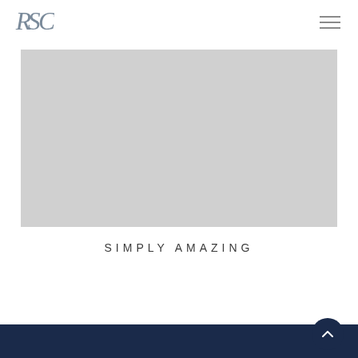[Figure (logo): RSC logo in serif/script style, dark gray]
[Figure (illustration): Hamburger menu icon (three horizontal lines) in light gray, top right corner]
[Figure (photo): Large light gray rectangular image placeholder occupying the upper portion of the page]
SIMPLY AMAZING
Dark navy blue footer bar at bottom of page
[Figure (illustration): Back-to-top button: dark navy circle with upward chevron arrow, bottom right]